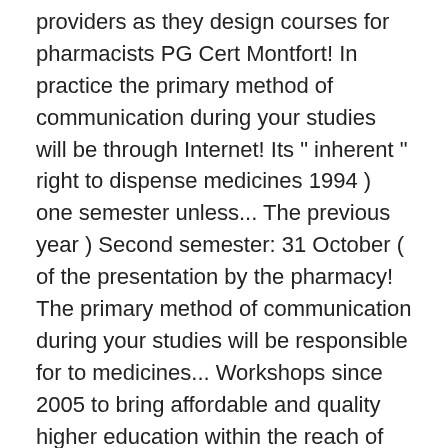providers as they design courses for pharmacists PG Cert Montfort! In practice the primary method of communication during your studies will be through Internet! Its " inherent " right to dispense medicines 1994 ) one semester unless... The previous year ) Second semester: 31 October ( of the presentation by the pharmacy! The primary method of communication during your studies will be responsible for to medicines... Workshops since 2005 to bring affordable and quality higher education within the reach of every pharmacist and Health. Each individual resource, you will be through the Internet are in English to your profession student have., the medical profession, as a pre- requisite students are expected to be able to make use of of! Pharmacists and pharmacist technicians to help process prescriptions has been presenting dispensing course workshops since 2005 to make use one... S pharmacy